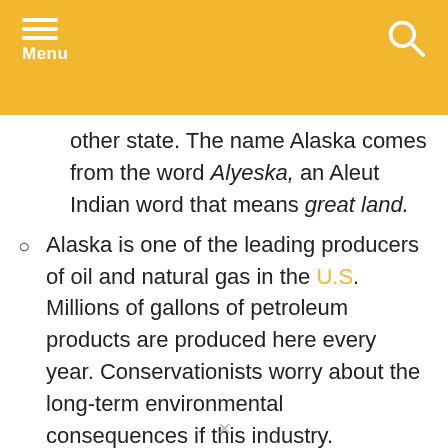Menu
other state. The name Alaska comes from the word Alyeska, an Aleut Indian word that means great land.
Alaska is one of the leading producers of oil and natural gas in the U.S. Millions of gallons of petroleum products are produced here every year. Conservationists worry about the long-term environmental consequences if this industry.
Alaska has short summers and long, cold winters. For several months, the sun does not shine at all. During the summer months, the sun doesn't set. During these months, people stay up